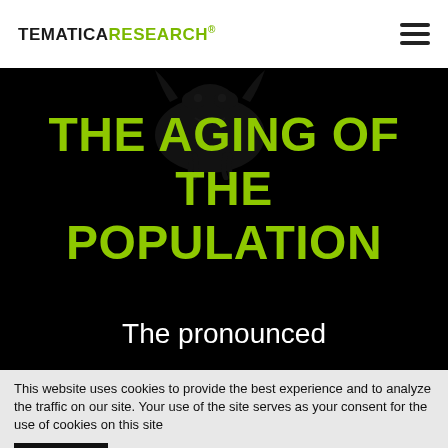TEMATICA RESEARCH®
THE AGING OF THE POPULATION
The pronounced
This website uses cookies to provide the best experience and to analyze the traffic on our site. Your use of the site serves as your consent for the use of cookies on this site
Accept   Privacy Policy